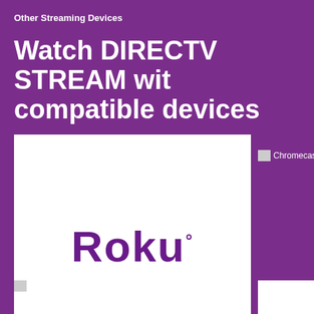Other Streaming Devices
Watch DIRECTV STREAM with compatible devices
[Figure (logo): Roku logo on white background — white rectangular image with the Roku wordmark in purple]
[Figure (photo): Chromecast image (broken/loading image placeholder) with label 'Chromecast']
[Figure (photo): Android image (broken/loading image placeholder) with label 'Android']
[Figure (other): Partial white box at bottom right corner]